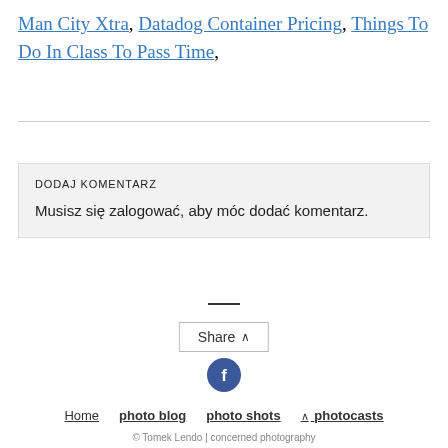Man City Xtra, Datadog Container Pricing, Things To Do In Class To Pass Time,
DODAJ KOMENTARZ
Musisz się zalogować, aby móc dodać komentarz.
Share ∧
[Figure (other): Facebook share button (blue circle with white 'f')]
Home  photo blog  photo shots  ∧ photocasts
© Tomek Lendo | concerned photography